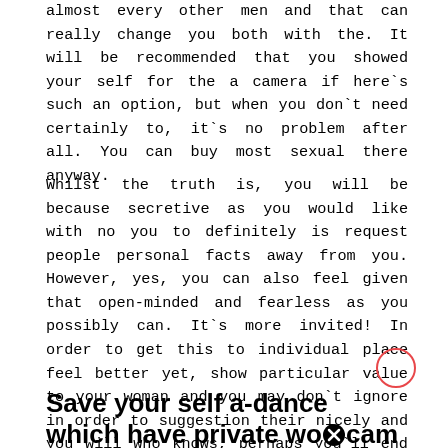almost every other men and that can really change you both with the. It will be recommended that you showed your self for the a camera if here`s such an option, but when you don`t need certainly to, it`s no problem after all. You can buy most sexual there anyway.
Whilst the truth is, you will be because secretive as you would like with no you to definitely is request people personal facts away from you. However, yes, you can also feel given that open-minded and fearless as you possibly can. It`s more invited! In order to get this to individual place feel better yet, show particular value to your woman and you may don`t ignore in order to suggestion their nicely and you will who knows, perhaps you`ll end up being her knight away from a top lover of your own day?
Save your self a-dance which have private wo cam people!